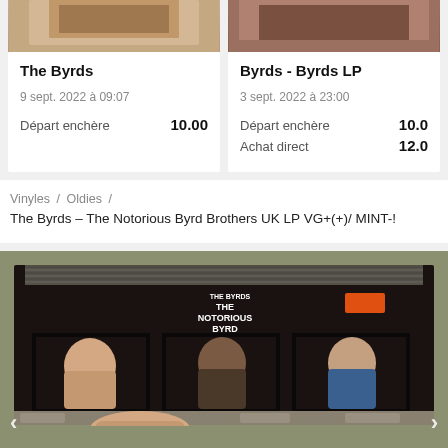[Figure (photo): Partial top image strip showing two cropped album/product photos side by side]
The Byrds
9 sept. 2022 à 09:07
Départ enchère	10.00
Byrds - Byrds LP
3 sept. 2022 à 23:00
Départ enchère	10.0
Achat direct	12.0
Vinyles / Oldies /
The Byrds – The Notorious Byrd Brothers UK LP VG+(+)/ MINT-!
[Figure (photo): Photo of The Notorious Byrd Brothers LP album cover being held up, showing band members in window frames of a barn-like structure, with stones below. A hand holding the record is visible at the bottom. Navigation arrows visible on left and right sides.]